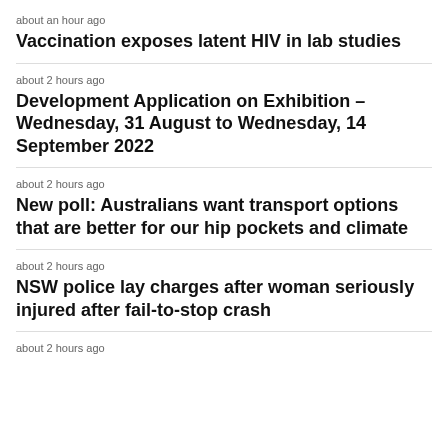about an hour ago
Vaccination exposes latent HIV in lab studies
about 2 hours ago
Development Application on Exhibition – Wednesday, 31 August to Wednesday, 14 September 2022
about 2 hours ago
New poll: Australians want transport options that are better for our hip pockets and climate
about 2 hours ago
NSW police lay charges after woman seriously injured after fail-to-stop crash
about 2 hours ago